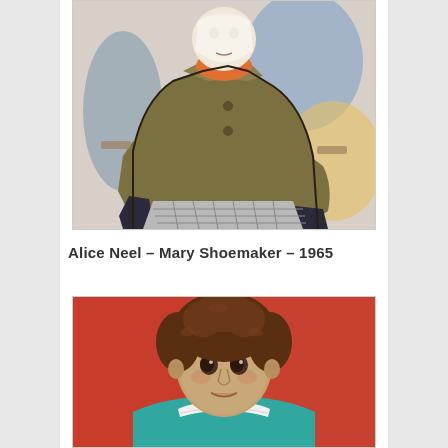[Figure (illustration): Painting by Alice Neel showing a seated figure wearing a khaki/olive coat and black gloves, with abstract colorful background in blues and yellows. The figure's face is painted in white and orange tones.]
Alice Neel – Mary Shoemaker – 1965
[Figure (illustration): Painting of a young child with curly brown hair and large dark eyes, wearing a teal/turquoise top with a white ruffled collar, set against a red/coral background.]